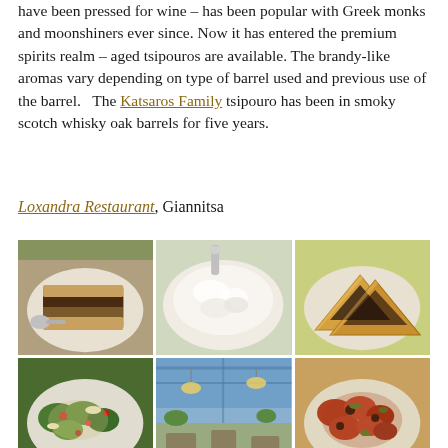have been pressed for wine – has been popular with Greek monks and moonshiners ever since. Now it has entered the premium spirits realm – aged tsipouros are available. The brandy-like aromas vary depending on type of barrel used and previous use of the barrel.   The Katsaros Family tsipouro has been in smoky scotch whisky oak barrels for five years.
Loxandra Restaurant, Giannitsa
[Figure (photo): Grid of six food and restaurant photos from Loxandra Restaurant, Giannitsa. Top row: a slice of moussaka on a white plate, a creamy white dish (taramosalata or tzatziki) on a plate, and two triangular pastries (tiropita) on a plate. Bottom row: a salad with vegetables and pomegranate seeds, interior of the restaurant showing blue ceiling and hanging decor, and a dish of cooked mixed vegetables or meat stew.]